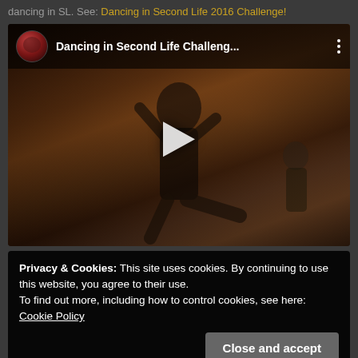dancing in SL. See: Dancing in Second Life 2016 Challenge!
[Figure (screenshot): YouTube video thumbnail showing a 3D animated female character dancing in Second Life. Video title: 'Dancing in Second Life Challeng...' with channel icon and menu dots. A play button triangle is visible in the center.]
Privacy & Cookies: This site uses cookies. By continuing to use this website, you agree to their use.
To find out more, including how to control cookies, see here: Cookie Policy
Close and accept